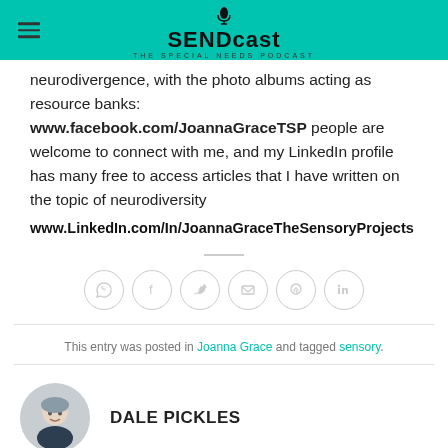SENDcast — The Special Needs Podcast
neurodivergence, with the photo albums acting as resource banks: www.facebook.com/JoannaGraceTSP people are welcome to connect with me, and my LinkedIn profile has many free to access articles that I have written on the topic of neurodiversity www.LinkedIn.com/In/JoannaGraceTheSensoryProjects
[Figure (other): Social sharing icons row: WhatsApp, Facebook, Twitter, Email, Pinterest, LinkedIn — all in circular grey outlines]
This entry was posted in Joanna Grace and tagged sensory.
DALE PICKLES